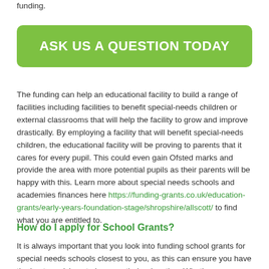funding.
ASK US A QUESTION TODAY
The funding can help an educational facility to build a range of facilities including facilities to benefit special-needs children or external classrooms that will help the facility to grow and improve drastically. By employing a facility that will benefit special-needs children, the educational facility will be proving to parents that it cares for every pupil. This could even gain Ofsted marks and provide the area with more potential pupils as their parents will be happy with this. Learn more about special needs schools and academies finances here https://funding-grants.co.uk/education-grants/early-years-foundation-stage/shropshire/allscott/ to find what you are entitled to.
How do I apply for School Grants?
It is always important that you look into funding school grants for special needs schools closest to you, as this can ensure you have the best provisions to improve their education. Whether...